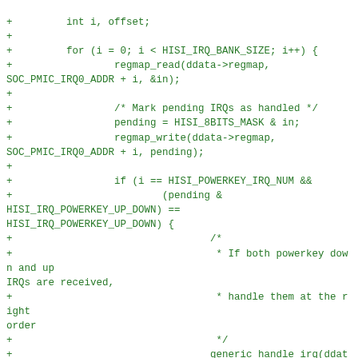+         int i, offset;
+
+         for (i = 0; i < HISI_IRQ_BANK_SIZE; i++) {
+                 regmap_read(ddata->regmap, SOC_PMIC_IRQ0_ADDR + i, &in);
+
+                 /* Mark pending IRQs as handled */
+                 pending = HISI_8BITS_MASK & in;
+                 regmap_write(ddata->regmap, SOC_PMIC_IRQ0_ADDR + i, pending);
+
+                 if (i == HISI_POWERKEY_IRQ_NUM &&
+                         (pending &
HISI_IRQ_POWERKEY_UP_DOWN) ==
HISI_IRQ_POWERKEY_UP_DOWN) {
+                                 /*
+                                  * If both powerkey down and up IRQs are received,
+                                  * handle them at the right order
+                                  */
+                                 generic_handle_irq(ddata->irqs[POWERKEY_DOWN]);
+                                 generic_handle_irq(ddata->irqs[POWERKEY_UP]);
+                                 pending &=
~HISI_IRQ_POWERKEY_UP_DOWN;
+                 }
+
+                 if (!pending)